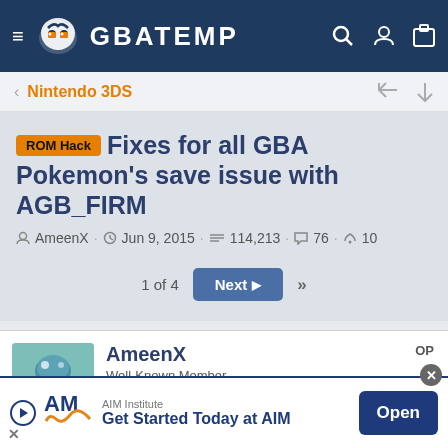GBATEMP
Nintendo 3DS
ROM Hack  Fixes for all GBA Pokemon's save issue with AGB_FIRM
AmeenX · Jun 9, 2015 · 114,213 · 76 · 10
1 of 4  Next  >>
AmeenX  OP  Well-Known Member  Member  Level 5
Jun 9, 2015  #1
[Figure (screenshot): AIM Institute advertisement banner: Get Started Today at AIM, with Open button]